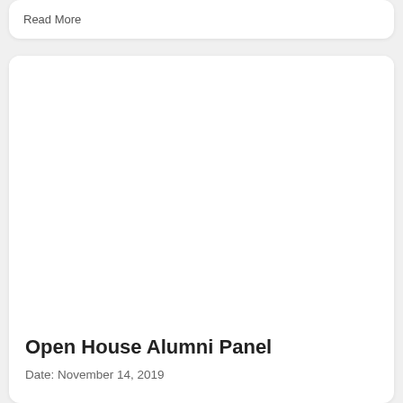Read More
[Figure (photo): Empty white image area for Open House Alumni Panel event card]
Open House Alumni Panel
Date: November 14, 2019